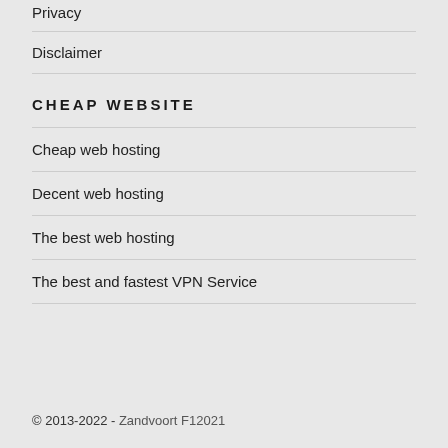Privacy
Disclaimer
CHEAP WEBSITE
Cheap web hosting
Decent web hosting
The best web hosting
The best and fastest VPN Service
© 2013-2022 - Zandvoort F12021